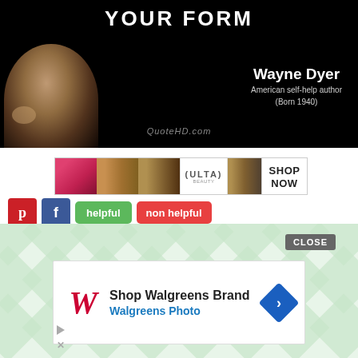[Figure (photo): Quote card with black background showing Wayne Dyer's photo on the left, text at top, author name and description on the right, QuoteHD.com watermark at bottom]
[Figure (photo): ULTA Beauty advertisement banner with makeup imagery: lipstick, brush, eyes, ULTA logo, and SHOP NOW button]
helpful
non helpful
[Figure (screenshot): Walgreens Brand advertisement overlay on green diamond pattern background with CLOSE button, showing Walgreens logo, 'Shop Walgreens Brand' text, 'Walgreens Photo' subtitle, and blue arrow icon]